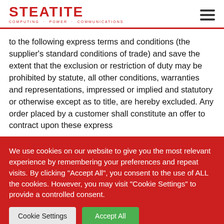STEATITE COMPUTING · POWER · COMMUNICATIONS
to the following express terms and conditions (the supplier's standard conditions of trade) and save the extent that the exclusion or restriction of duty may be prohibited by statute, all other conditions, warranties and representations, impressed or implied and statutory or otherwise except as to title, are hereby excluded. Any order placed by a customer shall constitute an offer to contract upon these express
We use cookies on our website to give you the most relevant experience by remembering your preferences and repeat visits. By clicking "Accept All", you consent to the use of ALL the cookies. However, you may visit "Cookie Settings" to provide a controlled consent.